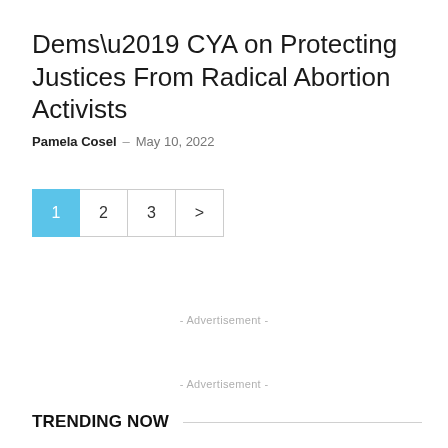Dems’ CYA on Protecting Justices From Radical Abortion Activists
Pamela Cosel – May 10, 2022
1 2 3 >
- Advertisement -
- Advertisement -
TRENDING NOW